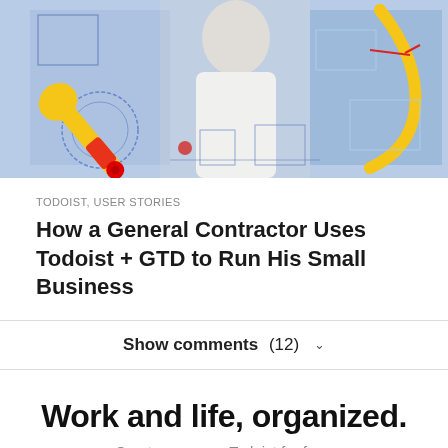[Figure (illustration): Hero banner image showing a general contractor man in white shirt centered, with blue-tinted blueprint/architectural background, a large yellow wrench with red accent on the left, yellow curved hose on the right, and blue architectural drawings and photos of interior spaces in the background.]
TODOIST, USER STORIES
How a General Contractor Uses Todoist + GTD to Run His Small Business
Show comments (12) ∨
Work and life, organized.
Create your own Todoist for free.
Learn More